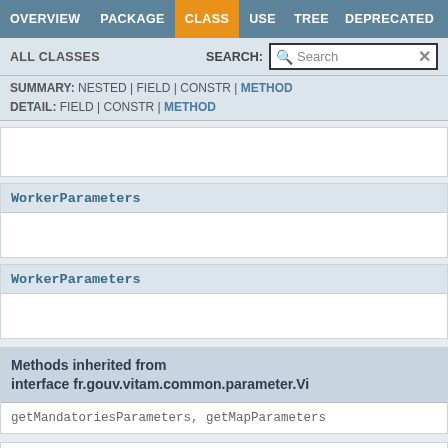OVERVIEW | PACKAGE | CLASS | USE | TREE | DEPRECATED
ALL CLASSES | SEARCH:
SUMMARY: NESTED | FIELD | CONSTR | METHOD
DETAIL: FIELD | CONSTR | METHOD
WorkerParameters
WorkerParameters
Methods inherited from interface fr.gouv.vitam.common.parameter.Vi
getMandatoriesParameters, getMapParameters